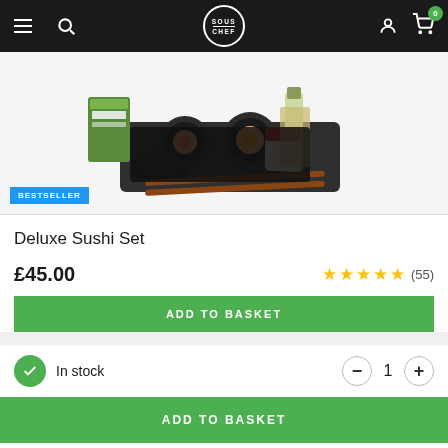Sous Chef navigation bar with hamburger menu, search, logo, user icon, cart (0)
[Figure (photo): Deluxe Sushi Set product photo showing sushi rolls on a black tray, chopsticks, wasabi, soy sauce, rice vinegar, and other Japanese cooking ingredients arranged together]
BESTSELLER
Deluxe Sushi Set
£45.00
★★★★★ (55)
ADD TO BASKET
In stock
1
ADD TO BASKET